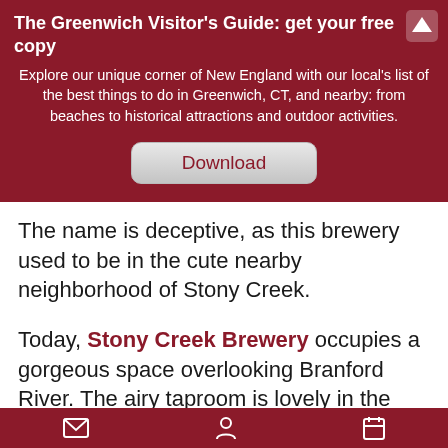The Greenwich Visitor's Guide: get your free copy
Explore our unique corner of New England with our local's list of the best things to do in Greenwich, CT, and nearby: from beaches to historical attractions and outdoor activities.
Download
The name is deceptive, as this brewery used to be in the cute nearby neighborhood of Stony Creek.
Today, Stony Creek Brewery occupies a gorgeous space overlooking Branford River. The airy taproom is lovely in the colder months with a window into the brewery's canning and bottling lines. And yet, it's even better when the deck, terrace, and yard overlooking the water